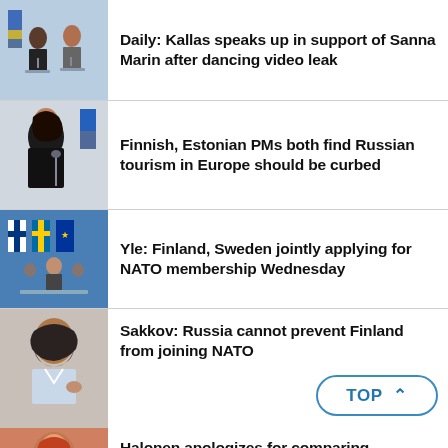Daily: Kallas speaks up in support of Sanna Marin after dancing video leak
Finnish, Estonian PMs both find Russian tourism in Europe should be curbed
Yle: Finland, Sweden jointly applying for NATO membership Wednesday
Sakkov: Russia cannot prevent Finland from joining NATO
Halonen apologizes for comparing